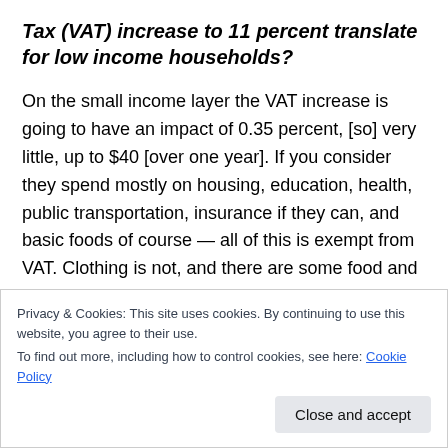Tax (VAT) increase to 11 percent translate for low income households?
On the small income layer the VAT increase is going to have an impact of 0.35 percent, [so] very little, up to $40 [over one year]. If you consider they spend mostly on housing, education, health, public transportation, insurance if they can, and basic foods of course — all of this is exempt from VAT. Clothing is not, and there are some food and beverages that are not. (A lot of crap. VAT is used a seesaw on every product and service and
Privacy & Cookies: This site uses cookies. By continuing to use this website, you agree to their use.
To find out more, including how to control cookies, see here: Cookie Policy